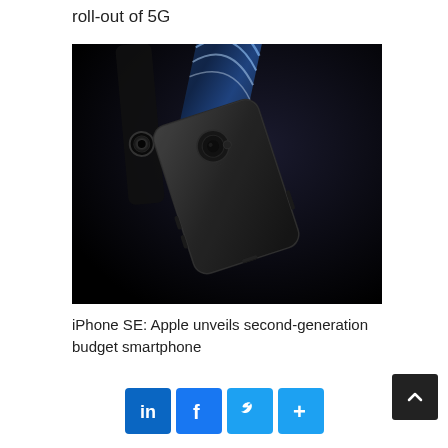roll-out of 5G
[Figure (photo): Two black iPhone SE (2nd generation) smartphones shown at an angle against a dark background, with curved blue and white lines visible on the display of the phone in the background.]
iPhone SE: Apple unveils second-generation budget smartphone
Social share buttons: LinkedIn, Facebook, Twitter, More; Scroll to top button